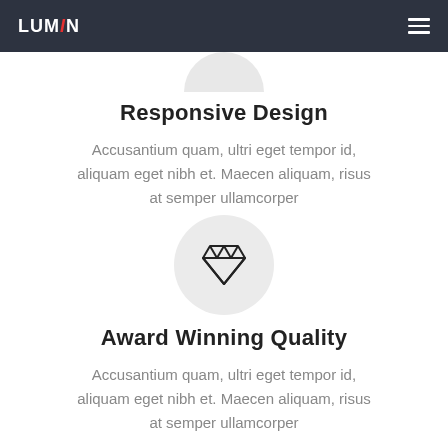LUMIN (navigation header with hamburger menu)
[Figure (illustration): Half-circle/arc shape at top of content area, light gray, representing partial circle icon from previous section]
Responsive Design
Accusantium quam, ultri eget tempor id, aliquam eget nibh et. Maecen aliquam, risus at semper ullamcorper
[Figure (illustration): Light gray circle containing a diamond/gem icon outline in dark color]
Award Winning Quality
Accusantium quam, ultri eget tempor id, aliquam eget nibh et. Maecen aliquam, risus at semper ullamcorper